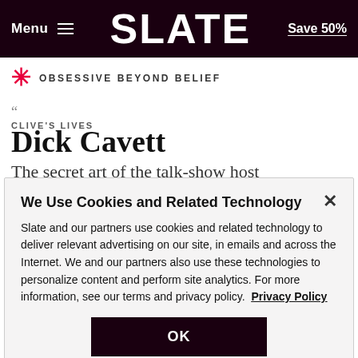Menu  SLATE  Save 50%
OBSESSIVE BEYOND BELIEF
CLIVE'S LIVES
Dick Cavett
The secret art of the talk-show host
We Use Cookies and Related Technology
Slate and our partners use cookies and related technology to deliver relevant advertising on our site, in emails and across the Internet. We and our partners also use these technologies to personalize content and perform site analytics. For more information, see our terms and privacy policy.  Privacy Policy
OK